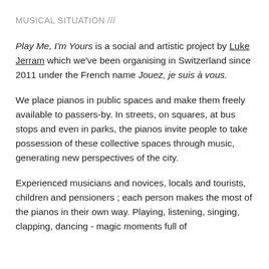MUSICAL SITUATION ///
Play Me, I'm Yours is a social and artistic project by Luke Jerram which we've been organising in Switzerland since 2011 under the French name Jouez, je suis à vous.
We place pianos in public spaces and make them freely available to passers-by. In streets, on squares, at bus stops and even in parks, the pianos invite people to take possession of these collective spaces through music, generating new perspectives of the city.
Experienced musicians and novices, locals and tourists, children and pensioners ; each person makes the most of the pianos in their own way. Playing, listening, singing, clapping, dancing - magic moments full of